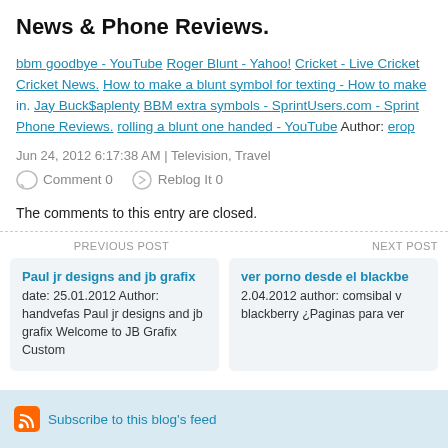News & Phone Reviews.
bbm goodbye - YouTube Roger Blunt - Yahoo! Cricket - Live Cricket Cricket News. How to make a blunt symbol for texting - How to make in. Jay Buck$aplenty BBM extra symbols - SprintUsers.com - Sprint Phone Reviews. rolling a blunt one handed - YouTube Author: erop
Jun 24, 2012 6:17:38 AM | Television, Travel
Comment 0   Reblog It 0
The comments to this entry are closed.
PREVIOUS POST
NEXT POST
Paul jr designs and jb grafix date: 25.01.2012 Author: handvefas Paul jr designs and jb grafix Welcome to JB Grafix Custom
ver porno desde el blackbe 2.04.2012 author: comsibal v blackberry ¿Paginas para ver
Subscribe to this blog's feed